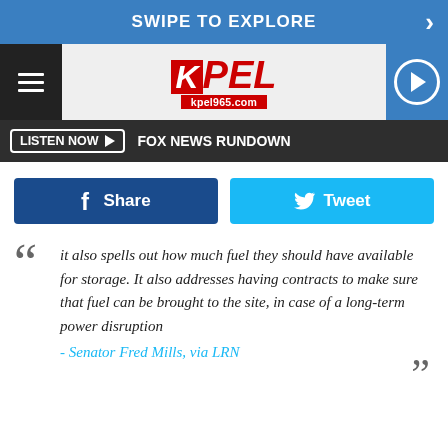SWIPE TO EXPLORE
[Figure (logo): KPEL kpel965.com radio station logo with hamburger menu and play button]
LISTEN NOW  FOX NEWS RUNDOWN
Share   Tweet
it also spells out how much fuel they should have available for storage. It also addresses having contracts to make sure that fuel can be brought to the site, in case of a long-term power disruption - Senator Fred Mills, via LRN